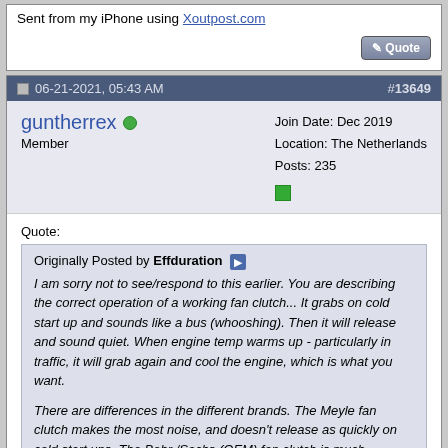Sent from my iPhone using Xoutpost.com
06-21-2021, 05:43 AM
#13649
guntherrex
Member
Join Date: Dec 2019
Location: The Netherlands
Posts: 235
Quote:
Originally Posted by Effduration
I am sorry not to see/respond to this earlier. You are describing the correct operation of a working fan clutch... It grabs on cold start up and sounds like a bus (whooshing). Then it will release and sound quiet. When engine temp warms up - particularly in traffic, it will grab again and cool the engine, which is what you want.

There are differences in the different brands. The Meyle fan clutch makes the most noise, and doesn't release as quickly on cold start ups. The Behr /Sachs (OEM) fan clutch is much quieter.. I buy the Behr/Sachs when I can.

But I recently discovered that both my fan clutch and aux fan (elec) were bad. Since I had two, new Meyle fan clutches in my parts pile, I installed one and was back in business. If the sound really